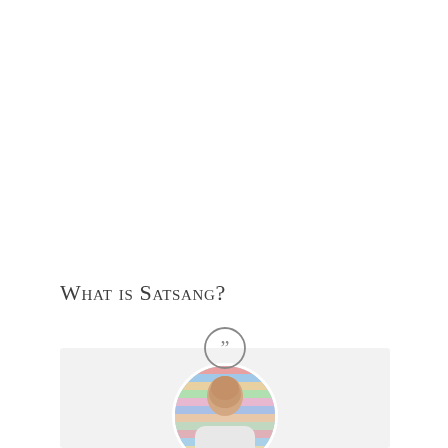What is Satsang?
[Figure (photo): A quote icon (closing double quotation mark in a circle) above a light grey rectangular background containing a circular portrait photo of a bald man in a white shirt, with a colorful striped background visible behind him.]